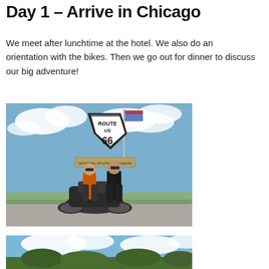Day 1 – Arrive in Chicago
We meet after lunchtime at the hotel. We also do an orientation with the bikes. Then we go out for dinner to discuss our big adventure!
[Figure (photo): Two people standing in front of a Route 66 US highway sign with a motorcycle, outdoors with blue sky and clouds in background]
[Figure (photo): Outdoor scene with blue sky, clouds, and trees visible at the bottom of the frame]